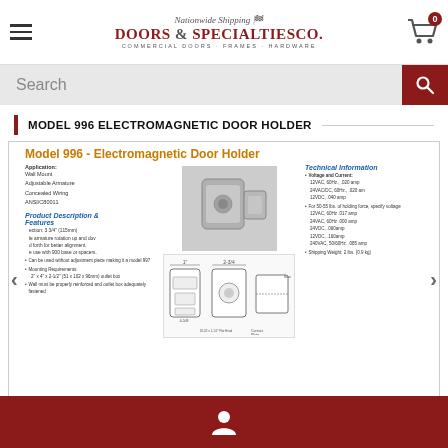Doors & Specialties Co. — Nationwide Shipping — Commercial Doors · Frames · Hardware
Search
MODEL 996 ELECTROMAGNETIC DOOR HOLDER
[Figure (infographic): Model 996 - Electromagnetic Door Holder product spec sheet showing product photo, application info, product description & features, technical information (voltage/current specs), and engineering diagrams with dimensions.]
User account icon footer bar